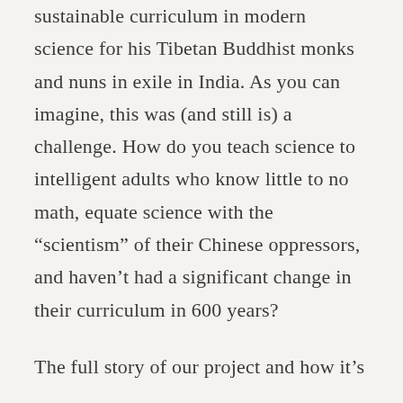sustainable curriculum in modern science for his Tibetan Buddhist monks and nuns in exile in India. As you can imagine, this was (and still is) a challenge. How do you teach science to intelligent adults who know little to no math, equate science with the “scientism” of their Chinese oppressors, and haven’t had a significant change in their curriculum in 600 years?
The full story of our project and how it’s